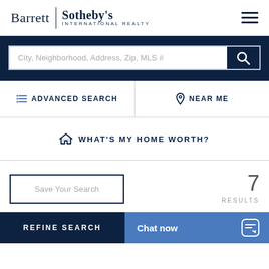[Figure (logo): Barrett Sotheby's International Realty logo with hamburger menu icon]
City, Neighborhood, Address, Zip, MLS #
ADVANCED SEARCH
NEAR ME
WHAT'S MY HOME WORTH?
Save Your Search
7 RESULTS
REFINE SEARCH
Chat now